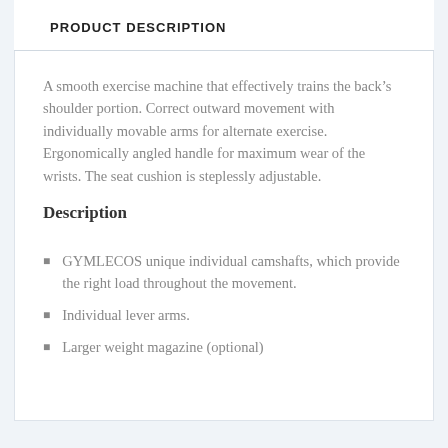PRODUCT DESCRIPTION
A smooth exercise machine that effectively trains the back’s shoulder portion. Correct outward movement with individually movable arms for alternate exercise. Ergonomically angled handle for maximum wear of the wrists. The seat cushion is steplessly adjustable.
Description
GYMLECOS unique individual camshafts, which provide the right load throughout the movement.
Individual lever arms.
Larger weight magazine (optional)